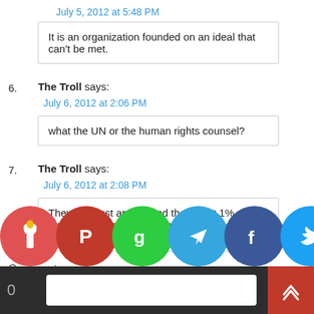July 5, 2012 at 5:48 PM
It is an organization founded on an ideal that can't be met.
6. The Troll says:
July 6, 2012 at 2:06 PM
what the UN or the human rights counsel?
7. The Troll says:
July 6, 2012 at 2:08 PM
They also just announced they want 1% of every billionaires wealth to help the poor. They so desperately want the power to tax
Comments
Thank you for visiting. You